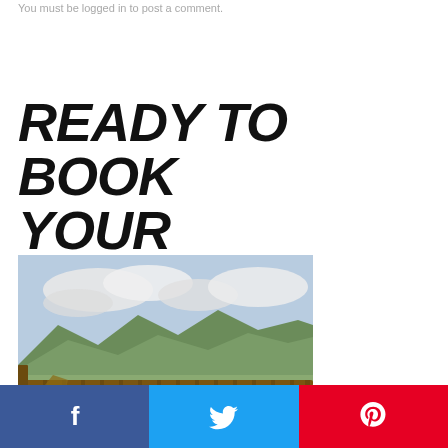You must be logged in to post a comment.
READY TO BOOK YOUR GETAWAY?
[Figure (photo): View from a wooden deck with rocking chairs overlooking mountain range under cloudy sky]
[Figure (infographic): Social sharing bar with Facebook (blue), Twitter (light blue), and Pinterest (red) buttons with icons]